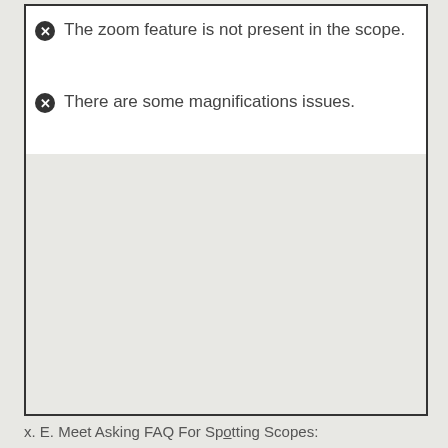The zoom feature is not present in the scope.
There are some magnifications issues.
x. E. Meet Asking FAQ For Spotting Scopes: